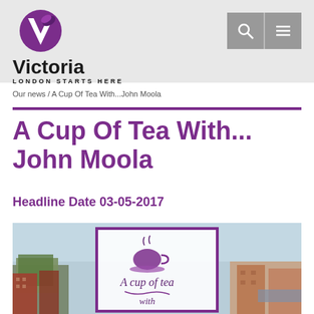Victoria — LONDON STARTS HERE
Our news / A Cup Of Tea With... John Moola
A Cup Of Tea With... John Moola
Headline Date 03-05-2017
[Figure (photo): Promotional image for 'A Cup of Tea With...' feature showing a teacup graphic overlaid on an aerial view of London cityscape]